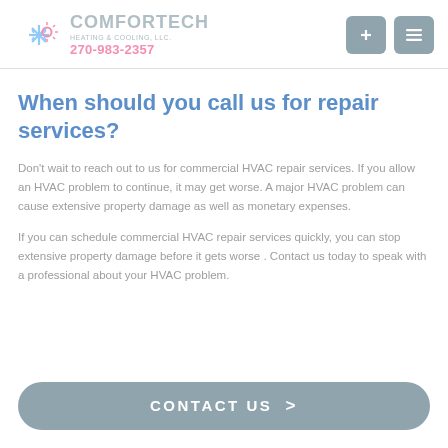COMFORTECH HEATING & COOLING, LLC. 270-983-2357
When should you call us for repair services?
Don't wait to reach out to us for commercial HVAC repair services. If you allow an HVAC problem to continue, it may get worse. A major HVAC problem can cause extensive property damage as well as monetary expenses.
If you can schedule commercial HVAC repair services quickly, you can stop extensive property damage before it gets worse . Contact us today to speak with a professional about your HVAC problem.
CONTACT US >